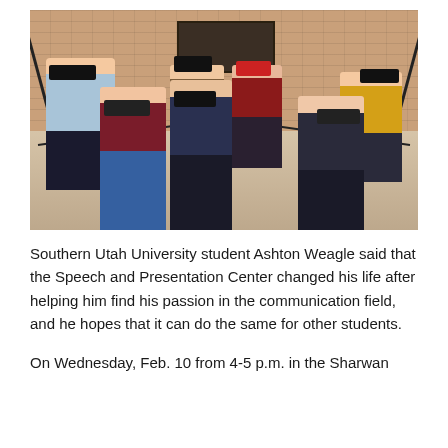[Figure (photo): Group photo of approximately 7 students wearing face masks, standing on steps in front of a brick building with black metal railings. The group includes both male and female students dressed in casual attire.]
Southern Utah University student Ashton Weagle said that the Speech and Presentation Center changed his life after helping him find his passion in the communication field, and he hopes that it can do the same for other students.
On Wednesday, Feb. 10 from 4-5 p.m. in the Sharwan